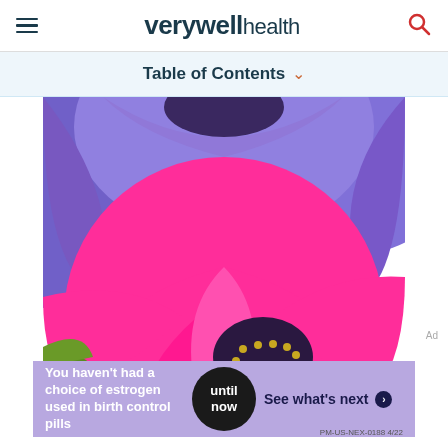verywell health
Table of Contents
[Figure (photo): Close-up macro photograph of vibrant pink and purple anemone flowers with dark center stamens and green foliage]
You haven't had a choice of estrogen used in birth control pills until now See what's next PM-US-NEX-0188 4/22